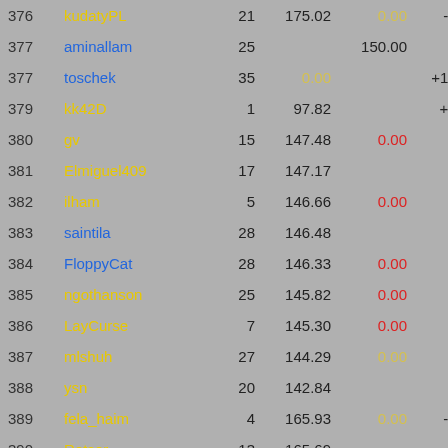| Rank | Name | Num | Score | Val2 | Adj | Total |
| --- | --- | --- | --- | --- | --- | --- |
| 376 | kudatyPL | 21 | 175.02 | 0.00 | -25 | 150.0 |
| 377 | aminallam | 25 |  | 150.00 |  | 150.0 |
| 377 | toschek | 35 | 0.00 |  | +150 | 150.0 |
| 379 | kk42D | 1 | 97.82 |  | +50 | 147.8 |
| 380 | gv | 15 | 147.48 | 0.00 |  | 147.4 |
| 381 | Elmiguel409 | 17 | 147.17 |  |  | 147.1 |
| 382 | ilham | 5 | 146.66 | 0.00 |  | 146.6 |
| 383 | saintila | 28 | 146.48 |  |  | 146.4 |
| 384 | FloppyCat | 28 | 146.33 | 0.00 |  | 146.3 |
| 385 | ngothanson | 25 | 145.82 | 0.00 |  | 145.8 |
| 386 | LayCurse | 7 | 145.30 | 0.00 |  | 145.3 |
| 387 | mlshuh | 27 | 144.29 | 0.00 |  | 144.2 |
| 388 | ysn | 20 | 142.84 |  |  | 142.8 |
| 389 | fela_haim | 4 | 165.93 | 0.00 | -25 | 140.9 |
| 390 | Rotsor | 13 | 165.69 |  | -25 | 140. |